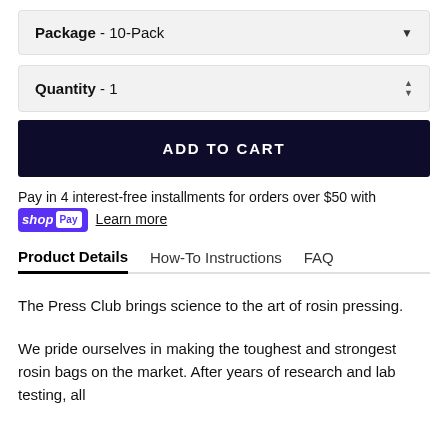Package - 10-Pack
Quantity - 1
ADD TO CART
Pay in 4 interest-free installments for orders over $50 with shop Pay Learn more
Product Details | How-To Instructions | FAQ
The Press Club brings science to the art of rosin pressing.
We pride ourselves in making the toughest and strongest rosin bags on the market. After years of research and lab testing, all